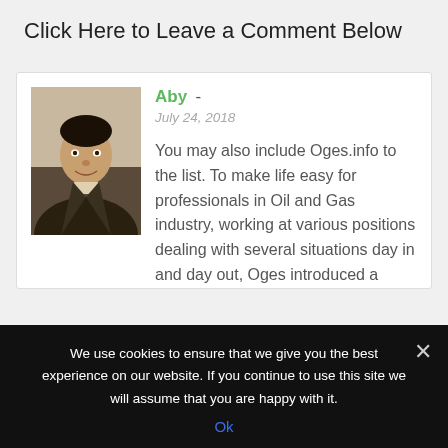Click Here to Leave a Comment Below
[Figure (photo): Profile photo of commenter Aby - a young man in a dark jacket]
Aby - 
July 24, 2018

You may also include Oges.info to the list. To make life easy for professionals in Oil and Gas industry, working at various positions dealing with several situations day in and day out, Oges introduced a
We use cookies to ensure that we give you the best experience on our website. If you continue to use this site we will assume that you are happy with it.
Ok